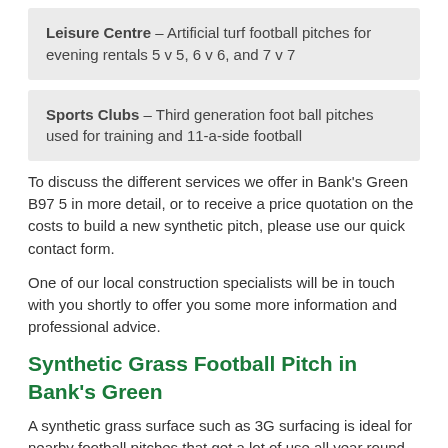Leisure Centre – Artificial turf football pitches for evening rentals 5 v 5, 6 v 6, and 7 v 7
Sports Clubs – Third generation foot ball pitches used for training and 11-a-side football
To discuss the different services we offer in Bank's Green B97 5 in more detail, or to receive a price quotation on the costs to build a new synthetic pitch, please use our quick contact form.
One of our local construction specialists will be in touch with you shortly to offer you some more information and professional advice.
Synthetic Grass Football Pitch in Bank's Green
A synthetic grass surface such as 3G surfacing is ideal for nearby football pitches that get a lot of use all year round. Installing an artificial turf pitch surface on football pitches allows games to be played all weathers, reducing the number of fixtures postponed.
When a synthetic football pitch is built, it is done so in porous layers; most commonly, the pitches build up includes a MOT Type 1